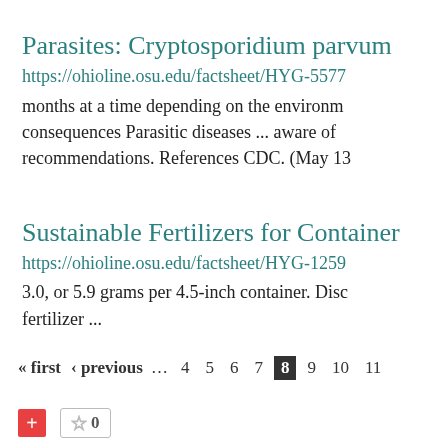Parasites: Cryptosporidium parvum
https://ohioline.osu.edu/factsheet/HYG-5577
months at a time depending on the environment consequences Parasitic diseases ... aware of recommendations. References CDC. (May 13
Sustainable Fertilizers for Container
https://ohioline.osu.edu/factsheet/HYG-1259
3.0, or 5.9 grams per 4.5-inch container. Disc fertilizer ...
« first ‹ previous … 4 5 6 7 8 9 10 11